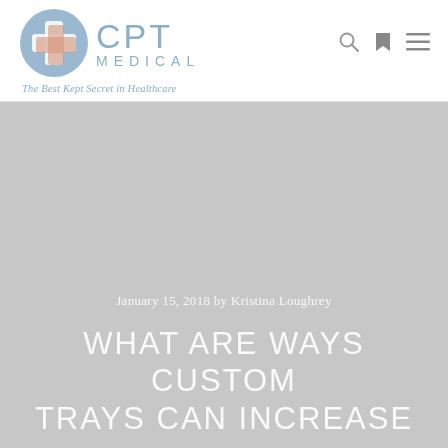[Figure (logo): CPT Medical logo with circular blue/grey cross icon and text 'CPT MEDICAL — The Best Kept Secret in Healthcare']
January 15, 2018 by Kristina Loughrey
WHAT ARE WAYS CUSTOM TRAYS CAN INCREASE